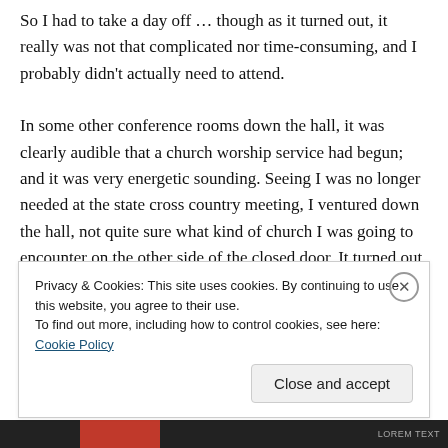So I had to take a day off … though as it turned out, it really was not that complicated nor time-consuming, and I probably didn't actually need to attend.

In some other conference rooms down the hall, it was clearly audible that a church worship service had begun; and it was very energetic sounding. Seeing I was no longer needed at the state cross country meeting, I ventured down the hall, not quite sure what kind of church I was going to encounter on the other side of the closed door. It turned out to be a very ethnic church, and I was instantly a minority of one! At a break in their worship
Privacy & Cookies: This site uses cookies. By continuing to use this website, you agree to their use.
To find out more, including how to control cookies, see here: Cookie Policy